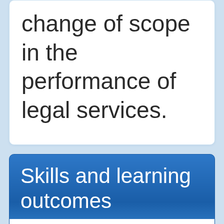change of scope in the performance of legal services.
Skills and learning outcomes
Link to document